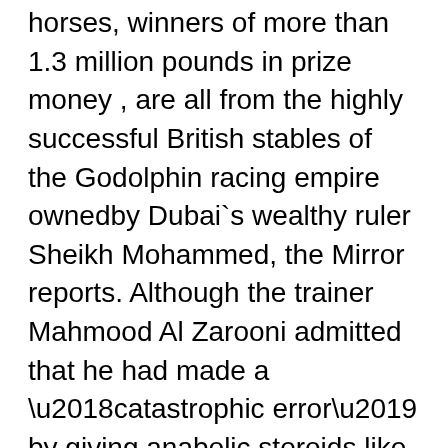horses, winners of more than 1.3 million pounds in prize money , are all from the highly successful British stables of the Godolphin racing empire ownedby Dubai`s wealthy ruler Sheikh Mohammed, the Mirror reports. Although the trainer Mahmood Al Zarooni admitted that he had made a ‘catastrophic error’ by giving anabolic steroids like ethylestrenol and stanozolol to the horses, he, however said he did not realise that what he had done was against the rules as the horses involved were not racing at that time. The report further said that Al Zarooni will face a British Horseracing Authority (BHA) inquiry and an almost inevitable ban from the sport if he is found guilty. BHA director Adam Brickell said that ethylestrenol and stanozolol are anabolic